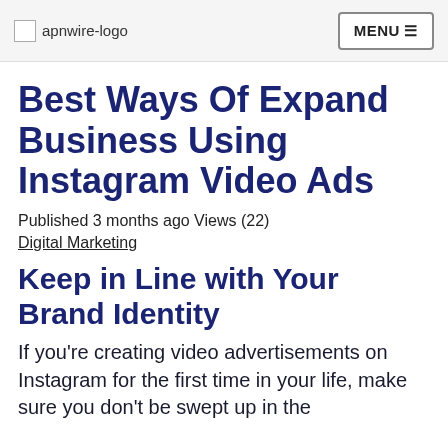apnwire-logo | MENU ☰
Best Ways Of Expand Business Using Instagram Video Ads
Published 3 months ago Views (22)
Digital Marketing
Keep in Line with Your Brand Identity
If you're creating video advertisements on Instagram for the first time in your life, make sure you don't be swept up in the